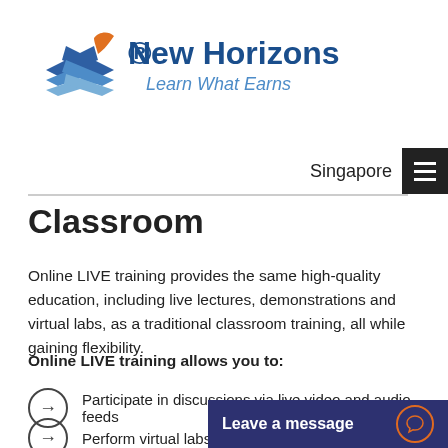[Figure (logo): New Horizons logo with tagline 'Learn What Earns']
Singapore
Classroom
Online LIVE training provides the same high-quality education, including live lectures, demonstrations and virtual labs, as a traditional classroom training, all while gaining flexibility.
Online LIVE training allows you to:
Participate in discussions via live video and audio feeds
Perform virtual labs
Leave a message